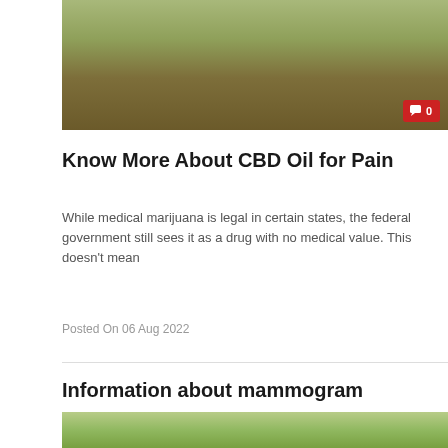[Figure (photo): Top portion of a photo showing CBD oil bottle and green herbs/leaves on a wooden surface, with a red comment badge showing 0 comments]
Know More About CBD Oil for Pain
While medical marijuana is legal in certain states, the federal government still sees it as a drug with no medical value. This doesn't mean
Posted On 06 Aug 2022
Information about mammogram
An X-ray image of the chest is called a mammogram. Mammograms are used by physicians to check for initial symptoms of breast cancer. Mammogram
Posted On 24 Nov 2021
[Figure (photo): Partial bottom image showing outdoor scene with people, cut off at the bottom of the page]